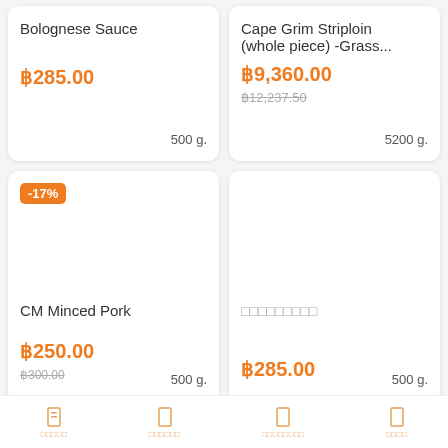Bolognese Sauce
฿285.00  500 g.
Cape Grim Striploin (whole piece) -Grass...
฿9,360.00  ฿12,237.50  5200 g.
-17%
CM Minced Pork
฿250.00  ฿300.00  500 g.
□□□□□□□□□
฿285.00  500 g.